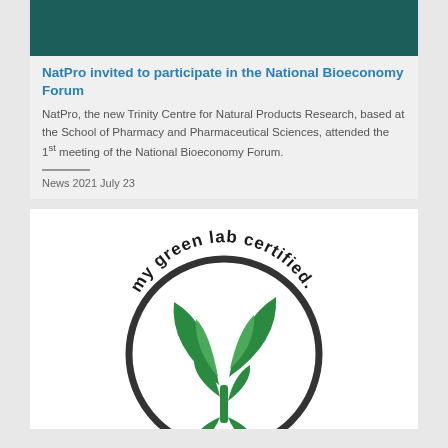[Figure (photo): Teal/dark green banner image at top of card]
NatPro invited to participate in the National Bioeconomy Forum
NatPro, the new Trinity Centre for Natural Products Research, based at the School of Pharmacy and Pharmaceutical Sciences, attended the 1st meeting of the National Bioeconomy Forum.
News 2021 July 23
[Figure (logo): My Green Lab Certified circular logo with green plant/leaf icon and text arched around top reading 'my green lab certified']